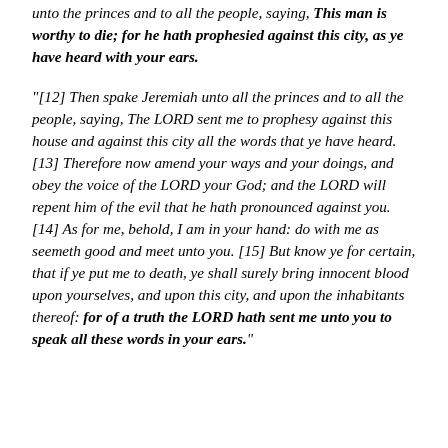unto the princes and to all the people, saying, This man is worthy to die; for he hath prophesied against this city, as ye have heard with your ears.
"[12] Then spake Jeremiah unto all the princes and to all the people, saying, The LORD sent me to prophesy against this house and against this city all the words that ye have heard. [13] Therefore now amend your ways and your doings, and obey the voice of the LORD your God; and the LORD will repent him of the evil that he hath pronounced against you. [14] As for me, behold, I am in your hand: do with me as seemeth good and meet unto you. [15] But know ye for certain, that if ye put me to death, ye shall surely bring innocent blood upon yourselves, and upon this city, and upon the inhabitants thereof: for of a truth the LORD hath sent me unto you to speak all these words in your ears."